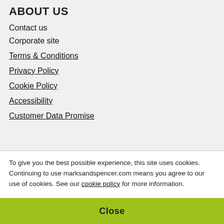ABOUT US
Contact us
Corporate site
Terms & Conditions
Privacy Policy
Cookie Policy
Accessibility
Customer Data Promise
To give you the best possible experience, this site uses cookies. Continuing to use marksandspencer.com means you agree to our use of cookies. See our cookie policy for more information.
Close